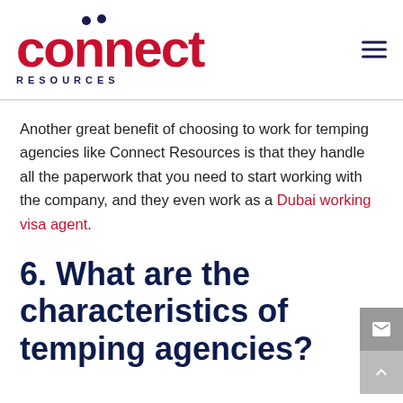Connect Resources
Another great benefit of choosing to work for temping agencies like Connect Resources is that they handle all the paperwork that you need to start working with the company, and they even work as a Dubai working visa agent.
6. What are the characteristics of temping agencies?